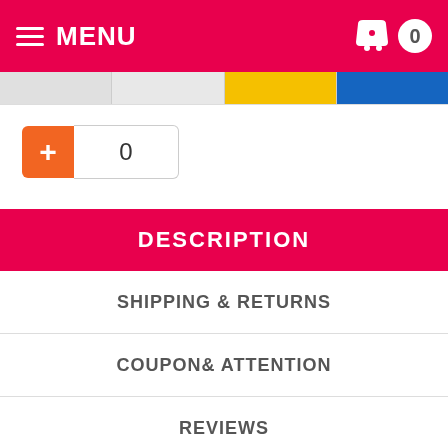MENU
0
DESCRIPTION
SHIPPING & RETURNS
COUPON& ATTENTION
REVIEWS
1920s Flapper Headband Material: crystals, elastic beaded band.